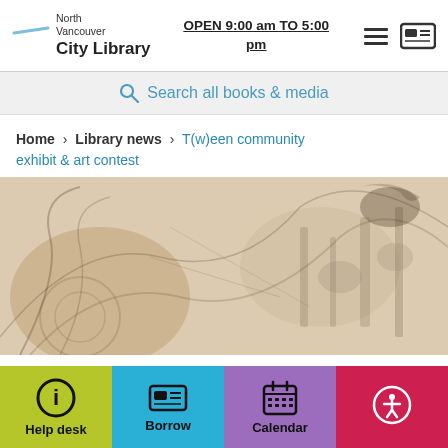North Vancouver City Library | OPEN 9:00 am TO 5:00 pm
Search all books & media
Home > Library news > T(w)een community exhibit & art contest
[Figure (illustration): Abstract sketch/painting artwork with muted warm tones, pencil-like lines depicting industrial or mechanical imagery]
Help desk | Borrow | Calendar | Accessibility